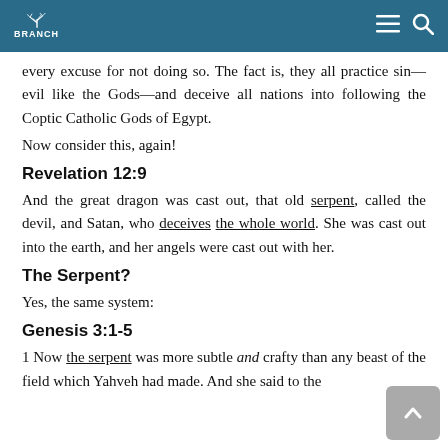BRANCH
every excuse for not doing so. The fact is, they all practice sin—evil like the Gods—and deceive all nations into following the Coptic Catholic Gods of Egypt.
Now consider this, again!
Revelation 12:9
And the great dragon was cast out, that old serpent, called the devil, and Satan, who deceives the whole world. She was cast out into the earth, and her angels were cast out with her.
The Serpent?
Yes, the same system:
Genesis 3:1-5
1 Now the serpent was more subtle and crafty than any beast of the field which Yahveh had made. And she said to the